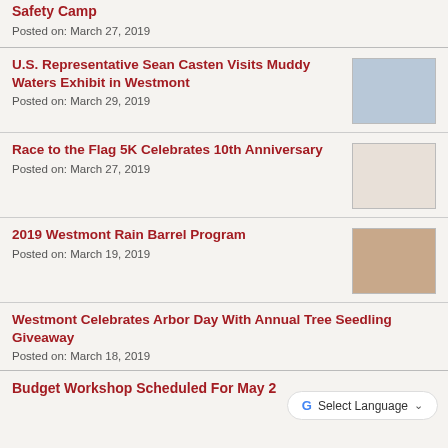Safety Camp
Posted on: March 27, 2019
U.S. Representative Sean Casten Visits Muddy Waters Exhibit in Westmont
Posted on: March 29, 2019
[Figure (photo): Person standing near framed artwork/exhibit]
Race to the Flag 5K Celebrates 10th Anniversary
Posted on: March 27, 2019
[Figure (logo): Race to the Flag event logo with American flag imagery]
2019 Westmont Rain Barrel Program
Posted on: March 19, 2019
[Figure (photo): Red rain barrel next to a brick wall with plants]
Westmont Celebrates Arbor Day With Annual Tree Seedling Giveaway
Posted on: March 18, 2019
Budget Workshop Scheduled For May 2